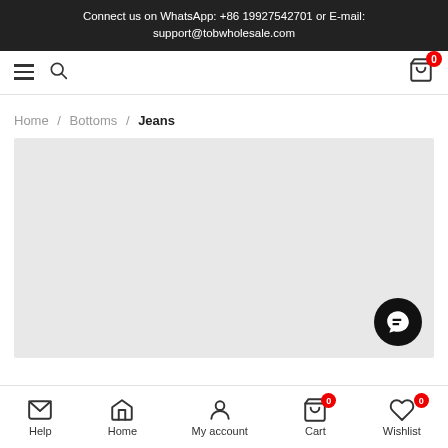Connect us on WhatsApp: +86 19927542701 or E-mail: support@tobwholesale.com
Home / Bottoms / Jeans
[Figure (screenshot): Gray placeholder rectangle representing a product image area for Jeans category]
Help | Home | My account | Cart 0 | Wishlist 0